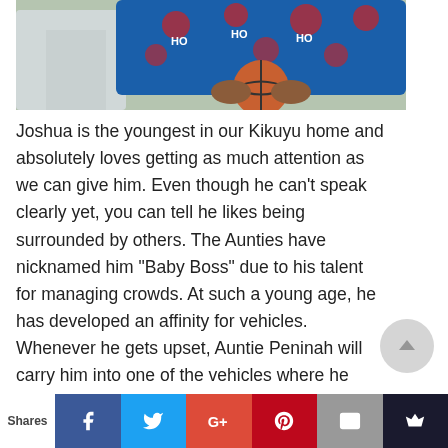[Figure (photo): Photo of a child in a blue Santa/Christmas sweater holding a basketball, with an adult in a white shirt partially visible on the left]
Joshua is the youngest in our Kikuyu home and absolutely loves getting as much attention as we can give him. Even though he can't speak clearly yet, you can tell he likes being surrounded by others. The Aunties have nicknamed him “Baby Boss” due to his talent for managing crowds. At such a young age, he has developed an affinity for vehicles. Whenever he gets upset, Auntie Peninah will carry him into one of the vehicles where he
Shares | Facebook | Twitter | Google+ | Pinterest | Email | Crown